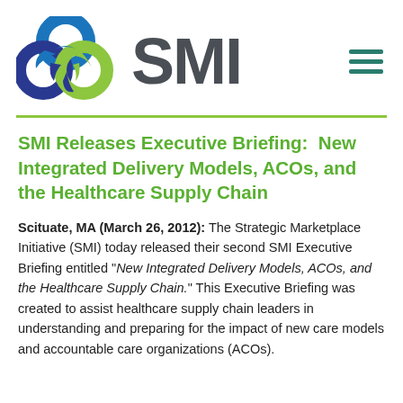[Figure (logo): SMI (Strategic Marketplace Initiative) logo with interlocking rings in blue, dark blue, and green colors, followed by the text 'SMI' in dark gray, and a hamburger menu icon in teal/green on the right]
SMI Releases Executive Briefing:  New Integrated Delivery Models, ACOs, and the Healthcare Supply Chain
Scituate, MA (March 26, 2012): The Strategic Marketplace Initiative (SMI) today released their second SMI Executive Briefing entitled “New Integrated Delivery Models, ACOs, and the Healthcare Supply Chain.” This Executive Briefing was created to assist healthcare supply chain leaders in understanding and preparing for the impact of new care models and accountable care organizations (ACOs).